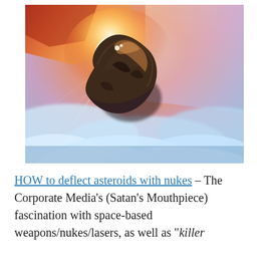[Figure (photo): A large rocky asteroid or meteorite depicted falling toward Earth, with dramatic sunlight glowing behind it, clouds below, and a colorful orange-pink-blue sky background.]
HOW to deflect asteroids with nukes – The Corporate Media's (Satan's Mouthpiece) fascination with space-based weapons/nukes/lasers, as well as "killer